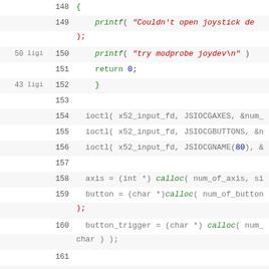Source code listing lines 148-165, C programming language with syntax highlighting
148: {
149: printf( "Couldn't open joystick de" );
50 ligi 150: printf( "try modprobe joydev\n" )
151: return 0;
43 ligi 152: }
153: (empty)
154: ioctl( x52_input_fd, JSIOCGAXES, &num_
155: ioctl( x52_input_fd, JSIOCGBUTTONS, &n
156: ioctl( x52_input_fd, JSIOCGNAME(80), &
157: (empty)
158: axis = (int *) calloc( num_of_axis, si
159: button = (char *)calloc( num_of_button );
160: button_trigger = (char *) calloc( num_ char ) );
161: (empty)
162: printf("Joystick detected: %s\n\t%d ax buttons\n\n"
163: , name_of_joystick
164: , num_of_axis
165: , num_of_buttons );